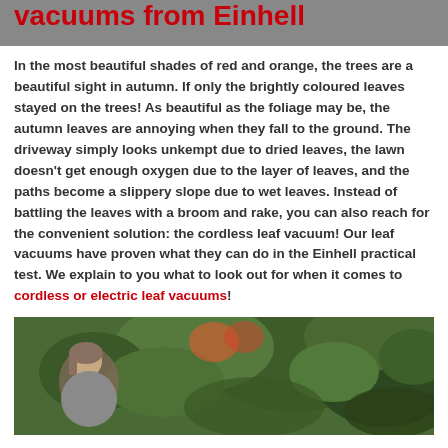vacuums from Einhell
In the most beautiful shades of red and orange, the trees are a beautiful sight in autumn. If only the brightly coloured leaves stayed on the trees! As beautiful as the foliage may be, the autumn leaves are annoying when they fall to the ground. The driveway simply looks unkempt due to dried leaves, the lawn doesn't get enough oxygen due to the layer of leaves, and the paths become a slippery slope due to wet leaves. Instead of battling the leaves with a broom and rake, you can also reach for the convenient solution: the cordless leaf vacuum! Our leaf vacuums have proven what they can do in the Einhell practical test. We explain to you what to look out for when it comes to cordless or electric leaf vacuums!
[Figure (photo): A person in a garden surrounded by lush green foliage and plants]